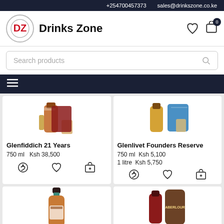+254700457373   sales@drinkszone.co.ke
Drinks Zone
Search products
[Figure (screenshot): E-commerce product listing page for Drinks Zone showing whisky products: Glenfiddich 21 Years (750 ml, Ksh 38,500) and Glenlivet Founders Reserve (750 ml Ksh 5,100 / 1 litre Ksh 5,750), plus partial images of two more bottles below.]